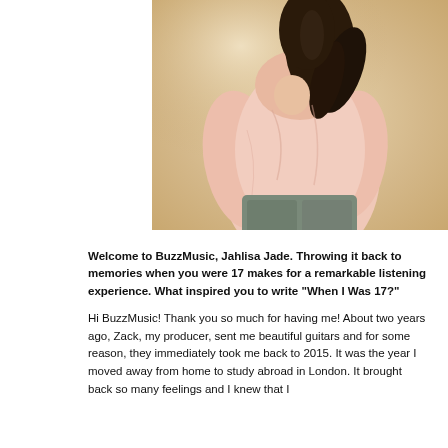[Figure (photo): A young woman with dark hair wearing a light pink top and jeans, photographed from behind/side angle against a soft blurred warm background.]
Welcome to BuzzMusic, Jahlisa Jade. Throwing it back to memories when you were 17 makes for a remarkable listening experience. What inspired you to write "When I Was 17?"
Hi BuzzMusic! Thank you so much for having me! About two years ago, Zack, my producer, sent me beautiful guitars and for some reason, they immediately took me back to 2015. It was the year I moved away from home to study abroad in London. It brought back so many feelings and I knew that I